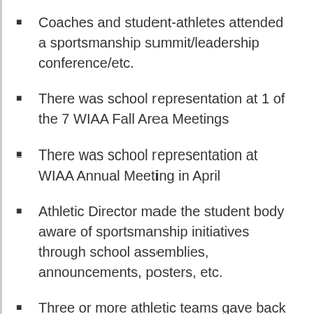Coaches and student-athletes attended a sportsmanship summit/leadership conference/etc.
There was school representation at 1 of the 7 WIAA Fall Area Meetings
There was school representation at WIAA Annual Meeting in April
Athletic Director made the student body aware of sportsmanship initiatives through school assemblies, announcements, posters, etc.
Three or more athletic teams gave back to their